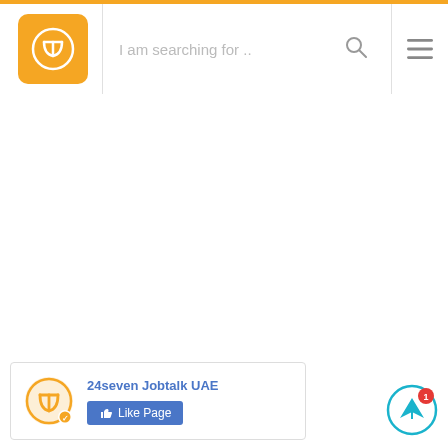[Figure (screenshot): Orange top navigation bar of 24seven Jobtalk UAE website with logo, search field placeholder 'I am searching for ..', search icon, and hamburger menu icon]
[Figure (screenshot): Facebook page widget showing 24seven Jobtalk UAE logo, page name '24seven Jobtalk UAE', and a blue 'Like Page' button]
[Figure (other): Circular notification icon with paper plane symbol and red badge showing number 1]